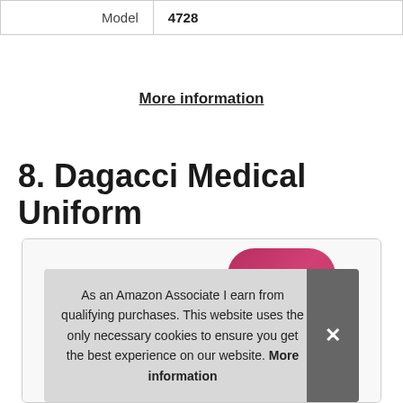| Model | 4728 |
More information
8. Dagacci Medical Uniform
[Figure (photo): Product image of Dagacci Medical Uniform in magenta/pink color, shown inside a bordered card with a cookie consent banner overlay.]
As an Amazon Associate I earn from qualifying purchases. This website uses the only necessary cookies to ensure you get the best experience on our website. More information